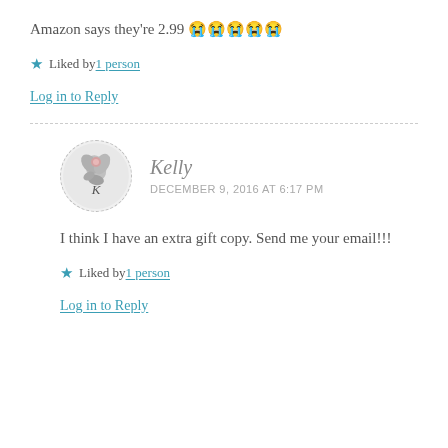Amazon says they're 2.99 😭😭😭😭😭
★ Liked by 1 person
Log in to Reply
[Figure (photo): Circular avatar with dashed border showing a grayscale floral illustration with the letter K]
Kelly
DECEMBER 9, 2016 AT 6:17 PM
I think I have an extra gift copy. Send me your email!!!
★ Liked by 1 person
Log in to Reply